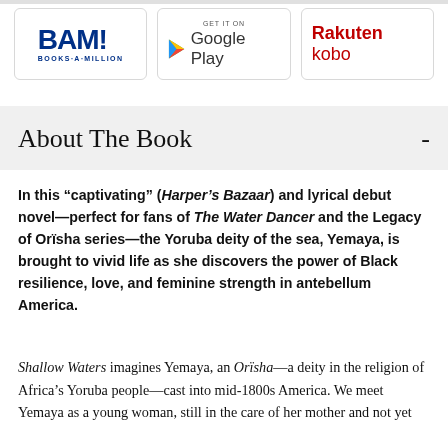[Figure (logo): Three retailer logos in rounded-rectangle boxes: BAM! Books-A-Million, GET IT ON Google Play, Rakuten kobo]
About The Book -
In this “captivating” (Harper’s Bazaar) and lyrical debut novel—perfect for fans of The Water Dancer and the Legacy of Orïsha series—the Yoruba deity of the sea, Yemaya, is brought to vivid life as she discovers the power of Black resilience, love, and feminine strength in antebellum America.
Shallow Waters imagines Yemaya, an Orïsha—a deity in the religion of Africa’s Yoruba people—cast into mid-1800s America. We meet Yemaya as a young woman, still in the care of her mother and not yet